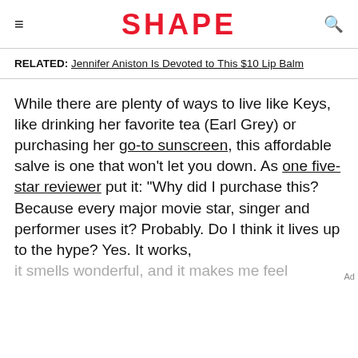SHAPE
RELATED: Jennifer Aniston Is Devoted to This $10 Lip Balm
While there are plenty of ways to live like Keys, like drinking her favorite tea (Earl Grey) or purchasing her go-to sunscreen, this affordable salve is one that won't let you down. As one five-star reviewer put it: "Why did I purchase this? Because every major movie star, singer and performer uses it? Probably. Do I think it lives up to the hype? Yes. It works, it smells wonderful, and it makes me feel